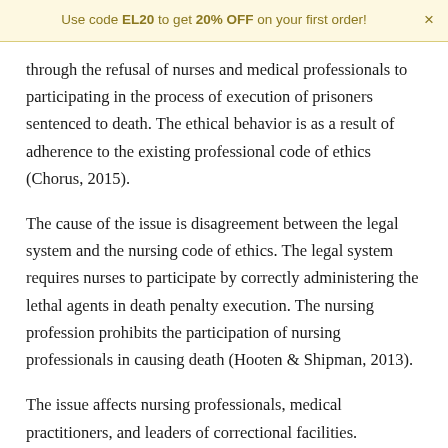Use code EL20 to get 20% OFF on your first order!
through the refusal of nurses and medical professionals to participating in the process of execution of prisoners sentenced to death. The ethical behavior is as a result of adherence to the existing professional code of ethics (Chorus, 2015).
The cause of the issue is disagreement between the legal system and the nursing code of ethics. The legal system requires nurses to participate by correctly administering the lethal agents in death penalty execution. The nursing profession prohibits the participation of nursing professionals in causing death (Hooten & Shipman, 2013).
The issue affects nursing professionals, medical practitioners, and leaders of correctional facilities.